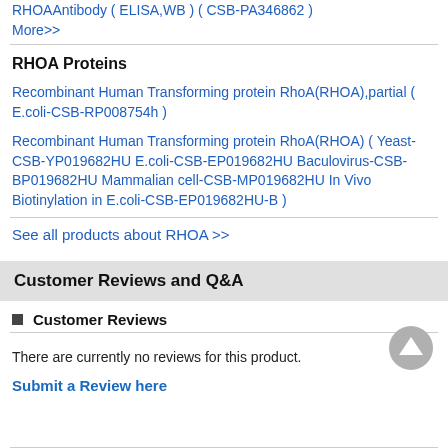RHOAAntibody (ELISA,WB) (CSB-PA346862)
More>>
RHOA Proteins
Recombinant Human Transforming protein RhoA(RHOA),partial ( E.coli-CSB-RP008754h )
Recombinant Human Transforming protein RhoA(RHOA) ( Yeast-CSB-YP019682HU E.coli-CSB-EP019682HU Baculovirus-CSB-BP019682HU Mammalian cell-CSB-MP019682HU In Vivo Biotinylation in E.coli-CSB-EP019682HU-B )
See all products about RHOA >>
Customer Reviews and Q&A
Customer Reviews
There are currently no reviews for this product.
Submit a Review here